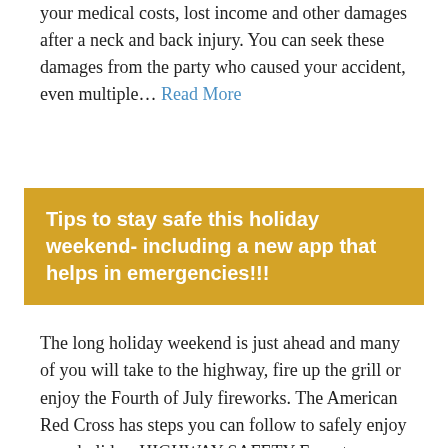your medical costs, lost income and other damages after a neck and back injury. You can seek these damages from the party who caused your accident, even multiple… Read More
Tips to stay safe this holiday weekend- including a new app that helps in emergencies!!!
The long holiday weekend is just ahead and many of you will take to the highway, fire up the grill or enjoy the Fourth of July fireworks. The American Red Cross has steps you can follow to safely enjoy your holiday. HIGHWAY SAFETY Experts say millions of people will be on the highways over the Fourth of July weekend. The Red Cross reminds everyone to buckle up, observe speed limits and to not drink and drive. Be well rested and alert and give your full attention to the road. Don't use your cell phone. Five more tips you should remember… Read More